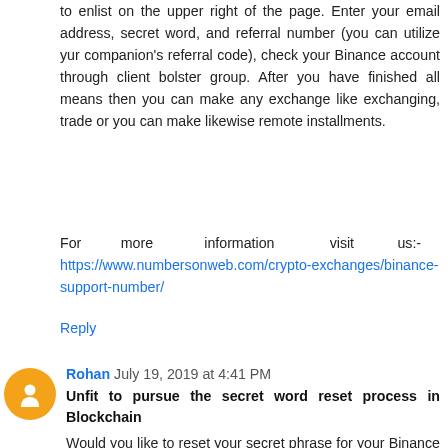to enlist on the upper right of the page. Enter your email address, secret word, and referral number (you can utilize yur companion's referral code), check your Binance account through client bolster group. After you have finished all means then you can make any exchange like exchanging, trade or you can make likewise remote installments.
For more information visit us:- https://www.numbersonweb.com/crypto-exchanges/binance-support-number/
Reply
Rohan July 19, 2019 at 4:41 PM
Unfit to pursue the secret word reset process in Blockchain
Would you like to reset your secret phrase for your Binance account yet unfit to pursue the secret key reset process in Blockchain? Is it accurate to say that you are searching for